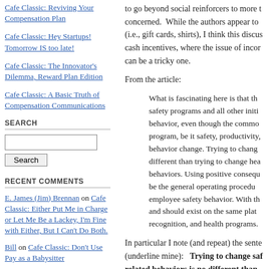Cafe Classic: Reviving Your Compensation Plan
Cafe Classic: Hey Startups! Tomorrow IS too late!
Cafe Classic: The Innovator's Dilemma, Reward Plan Edition
Cafe Classic: A Basic Truth of Compensation Communications
SEARCH
RECENT COMMENTS
E. James (Jim) Brennan on Cafe Classic: Either Put Me in Charge or Let Me Be a Lackey, I'm Fine with Either, But I Can't Do Both.
Bill on Cafe Classic: Don't Use Pay as a Babysitter
Steve on Cafe Classic: Uncertainty Motivates, No S...
to go beyond social reinforcers to more t concerned.  While the authors appear to (i.e., gift cards, shirts), I think this discus cash incentives, where the issue of incor can be a tricky one.
From the article:
What is fascinating here is that th safety programs and all other initi behavior, even though the commo program, be it safety, productivity, behavior change. Trying to chang different than trying to change hea behaviors. Using positive consequ be the general operating procedu employee safety behavior. With th and should exist on the same plat recognition, and health programs.
In particular I note (and repeat) the sente (underline mine):   Trying to change saf related behaviors is no different than trying to change health- or productivit